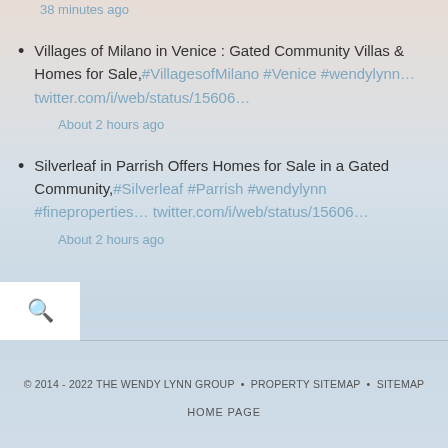38 minutes ago
Villages of Milano in Venice : Gated Community Villas & Homes for Sale,#VillagesofMilano #Venice #wendylynn… twitter.com/i/web/status/15606…
About 2 hours ago
Silverleaf in Parrish Offers Homes for Sale in a Gated Community,#Silverleaf #Parrish #wendylynn #fineproperties… twitter.com/i/web/status/15606…
About 2 hours ago
© 2014 - 2022 THE WENDY LYNN GROUP • PROPERTY SITEMAP • SITEMAP
HOME PAGE